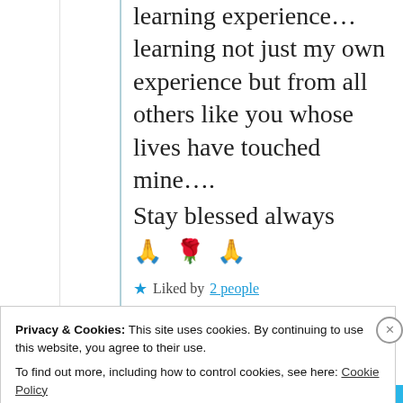Life has been a continous learning experience… learning not just my own experience but from all others like you whose lives have touched mine….
Stay blessed always 🙏 🌹 🙏
★ Liked by 2 people
Privacy & Cookies: This site uses cookies. By continuing to use this website, you agree to their use.
To find out more, including how to control cookies, see here: Cookie Policy
Close and accept